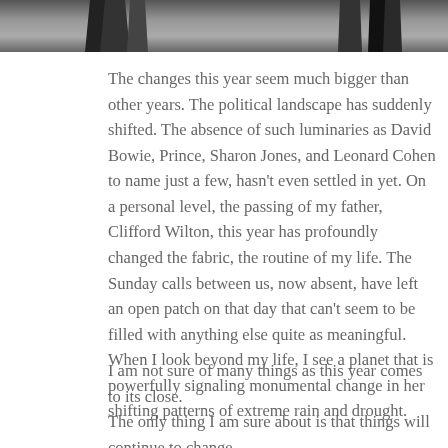[Figure (photo): A dark photographic strip showing silhouettes of trees or figures against a lighter background, spanning the full width at the top of the page.]
The changes this year seem much bigger than other years. The political landscape has suddenly shifted. The absence of such luminaries as David Bowie, Prince, Sharon Jones, and Leonard Cohen to name just a few, hasn't even settled in yet. On a personal level, the passing of my father, Clifford Wilton, this year has profoundly changed the fabric, the routine of my life. The Sunday calls between us, now absent, have left an open patch on that day that can't seem to be filled with anything else quite as meaningful. When I look beyond my life, I see a planet that is powerfully signaling monumental change in her shifting patterns of extreme rain and drought.
I am not sure of many things as this year comes to its close.
The only thing I am sure about is that things will continue to change.